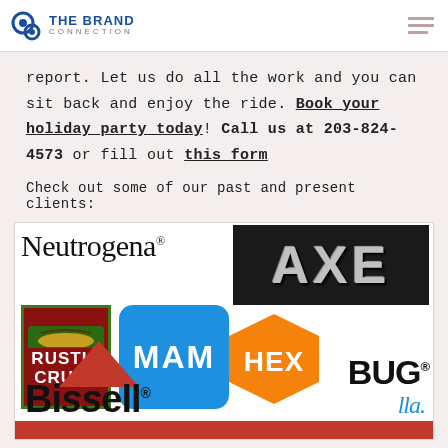THE BRAND CONNECTION
report. Let us do all the work and you can sit back and enjoy the ride. Book your holiday party today! Call us at 203-824-4573 or fill out this form
Check out some of our past and present clients:
[Figure (logo): Client logos collage: Neutrogena, AXE, Rustic Crust, MAM, HEXBUG, Bissell, and partial logos at bottom]